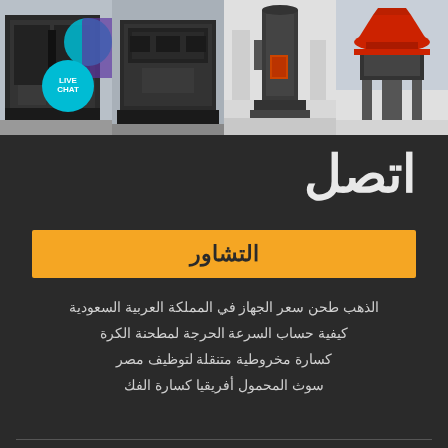[Figure (photo): Four industrial crushing/grinding machine photos in a horizontal strip at the top of the page. Left to right: red cone crusher, vertical mill, horizontal impact crusher, jaw crusher with LIVE CHAT badge overlay on the rightmost image.]
اتصل
التشاور
الذهب طحن سعر الجهاز في المملكة العربية السعودية
كيفية حساب السرعة الحرجة لمطحنة الكرة
كسارة مخروطية متنقلة لتوظيف مصر
سوث المحمول أفريقيا كسارة الفك